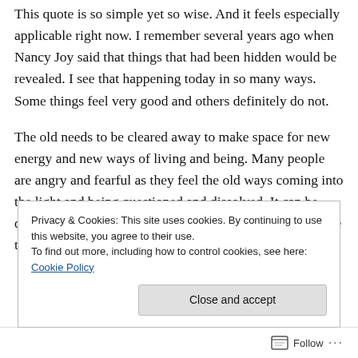This quote is so simple yet so wise.  And it feels especially applicable right now.  I remember several years ago when Nancy Joy said that things that had been hidden would be revealed.  I see that happening today in so many ways.  Some things feel very good and others definitely do not.
The old needs to be cleared away to make space for new energy and new ways of living and being.  Many people are angry and fearful as they feel the old ways coming into the light and being questioned and dissolved.  It can be disconcerting and stressful to see institutions and those we trusted being exposed in dishonesty and deception or
Privacy & Cookies: This site uses cookies. By continuing to use this website, you agree to their use.
To find out more, including how to control cookies, see here: Cookie Policy
Close and accept
Follow